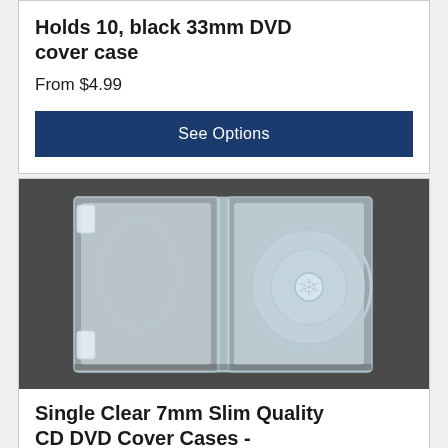Holds 10, black 33mm DVD cover case
From $4.99
See Options
[Figure (photo): Open clear slim single DVD case showing the disc holder tray on a dark grey background]
Single Clear 7mm Slim Quality CD DVD Cover Cases -